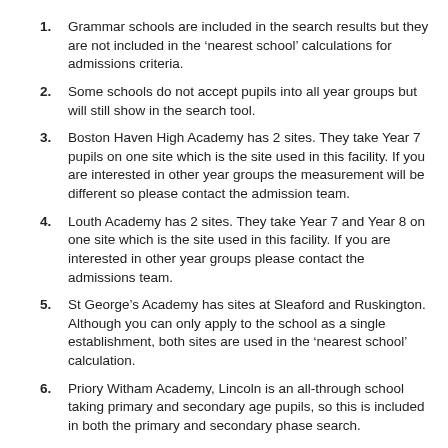Grammar schools are included in the search results but they are not included in the ‘nearest school’ calculations for admissions criteria.
Some schools do not accept pupils into all year groups but will still show in the search tool.
Boston Haven High Academy has 2 sites. They take Year 7 pupils on one site which is the site used in this facility. If you are interested in other year groups the measurement will be different so please contact the admission team.
Louth Academy has 2 sites. They take Year 7 and Year 8 on one site which is the site used in this facility. If you are interested in other year groups please contact the admissions team.
St George’s Academy has sites at Sleaford and Ruskington. Although you can only apply to the school as a single establishment, both sites are used in the ‘nearest school’ calculation.
Priory Witham Academy, Lincoln is an all-through school taking primary and secondary age pupils, so this is included in both the primary and secondary phase search.